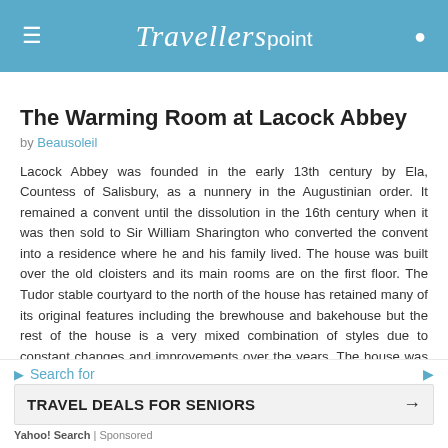Travellerspoint
The Warming Room at Lacock Abbey
by Beausoleil
Lacock Abbey was founded in the early 13th century by Ela, Countess of Salisbury, as a nunnery in the Augustinian order. It remained a convent until the dissolution in the 16th century when it was then sold to Sir William Sharington who converted the convent into a residence where he and his family lived. The house was built over the old cloisters and its main rooms are on the first floor. The Tudor stable courtyard to the north of the house has retained many of its original features including the brewhouse and bakehouse but the rest of the house is a very mixed combination of styles due to constant changes and improvements over the years. The house was inherited by the Talbot family, and during the 19th century was the home of William Henry Fox Talbot. In 1835 he made came
Search for
TRAVEL DEALS FOR SENIORS
Yahoo! Search | Sponsored